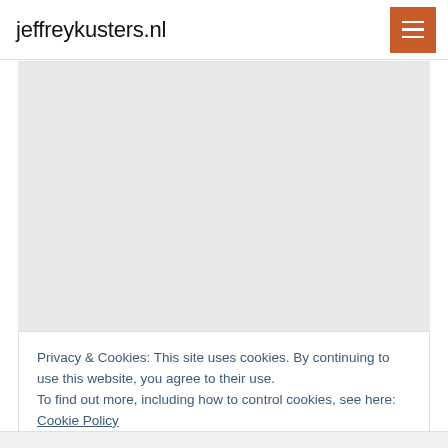jeffreykusters.nl
[Figure (screenshot): Gray placeholder content area representing a blank/loading website section]
Privacy & Cookies: This site uses cookies. By continuing to use this website, you agree to their use.
To find out more, including how to control cookies, see here: Cookie Policy
Close and accept